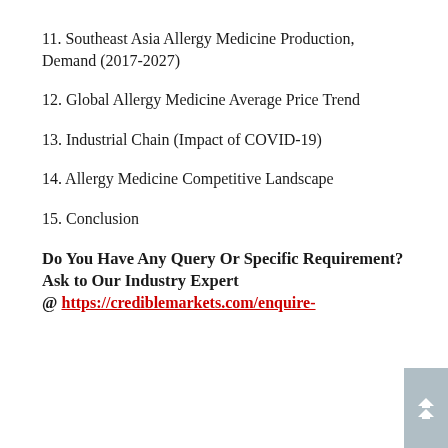11. Southeast Asia Allergy Medicine Production, Demand (2017-2027)
12. Global Allergy Medicine Average Price Trend
13. Industrial Chain (Impact of COVID-19)
14. Allergy Medicine Competitive Landscape
15. Conclusion
Do You Have Any Query Or Specific Requirement? Ask to Our Industry Expert @ https://crediblemarkets.com/enquire-